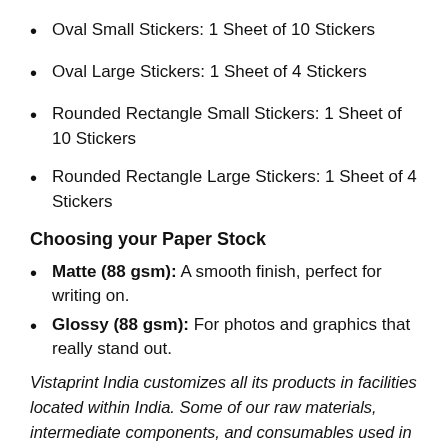Oval Small Stickers: 1 Sheet of 10 Stickers
Oval Large Stickers: 1 Sheet of 4 Stickers
Rounded Rectangle Small Stickers: 1 Sheet of 10 Stickers
Rounded Rectangle Large Stickers: 1 Sheet of 4 Stickers
Choosing your Paper Stock
Matte (88 gsm): A smooth finish, perfect for writing on.
Glossy (88 gsm): For photos and graphics that really stand out.
Vistaprint India customizes all its products in facilities located within India. Some of our raw materials, intermediate components, and consumables used in the manufacturing of the final product could be from